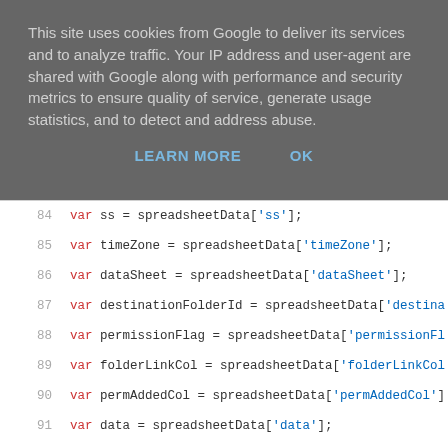This site uses cookies from Google to deliver its services and to analyze traffic. Your IP address and user-agent are shared with Google along with performance and security metrics to ensure quality of service, generate usage statistics, and to detect and address abuse.
LEARN MORE    OK
84      var ss = spreadsheetData['ss'];
85      var timeZone = spreadsheetData['timeZone'];
86      var dataSheet = spreadsheetData['dataSheet'];
87      var destinationFolderId = spreadsheetData['destina
88      var permissionFlag = spreadsheetData['permissionFl
89      var folderLinkCol = spreadsheetData['folderLinkCol
90      var permAddedCol = spreadsheetData['permAddedCol']
91      var data = spreadsheetData['data'];
92
93      // get last Row number
94      var lastRow = dataSheet.getLastRow();
95
96